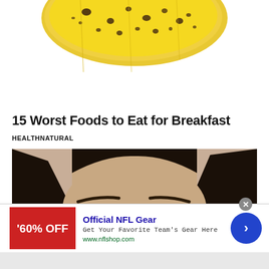[Figure (photo): Close-up top portion of a ripe banana with brown spots on yellow skin, cropped showing only bottom half of banana]
15 Worst Foods to Eat for Breakfast
HEALTHNATURAL
[Figure (photo): Close-up photo of a woman's face from eyebrows to top of nose, dark hair, with beige/tan background]
[Figure (other): Advertisement banner: '60% OFF' badge in red, 'Official NFL Gear' headline in blue, 'Get Your Favorite Team's Gear Here' description, 'www.nflshop.com' URL in green, blue circular arrow button on right]